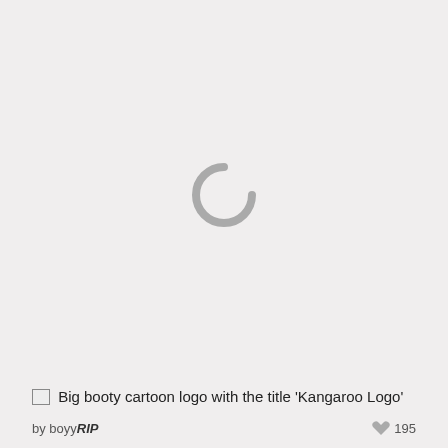[Figure (other): Loading spinner icon — a gray circular arc (C shape) indicating an image is loading]
Big booty cartoon logo with the title 'Kangaroo Logo'
by boyyRIP   195